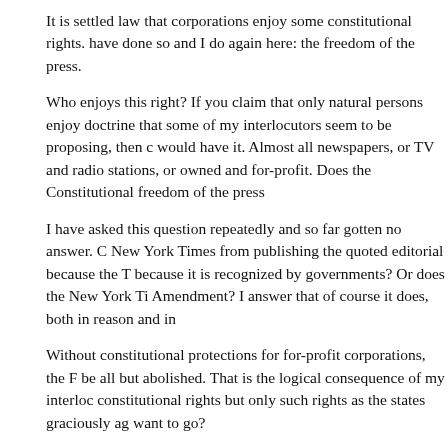It is settled law that corporations enjoy some constitutional rights. have done so and I do again here: the freedom of the press.
Who enjoys this right? If you claim that only natural persons enjoy doctrine that some of my interlocutors seem to be proposing, then c would have it. Almost all newspapers, or TV and radio stations, or owned and for-profit. Does the Constitutional freedom of the press
I have asked this question repeatedly and so far gotten no answer. C New York Times from publishing the quoted editorial because the T because it is recognized by governments? Or does the New York Ti Amendment? I answer that of course it does, both in reason and in
Without constitutional protections for for-profit corporations, the F be all but abolished. That is the logical consequence of my interloc constitutional rights but only such rights as the states graciously ag want to go?
Posted by K. Blanchard on Wednesday, December 14, 2011 at 08:44 PM | Permalink | Comments
Reblog (0)  Like 0
Corporate Personhood 2
My last post encouraged some vigorous discussion on the topic of co